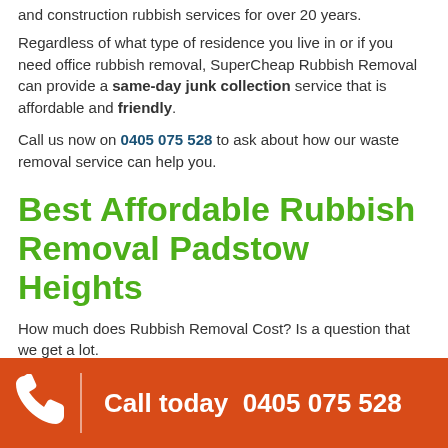and construction rubbish services for over 20 years.
Regardless of what type of residence you live in or if you need office rubbish removal, SuperCheap Rubbish Removal can provide a same-day junk collection service that is affordable and friendly.
Call us now on 0405 075 528 to ask about how our waste removal service can help you.
Best Affordable Rubbish Removal Padstow Heights
How much does Rubbish Removal Cost? Is a question that we get a lot.
We enjoy giving back savings to Padstow Heights locals!
That's our inspiration for being super cheap.
We understand that when looking to dispose of your
Call today  0405 075 528